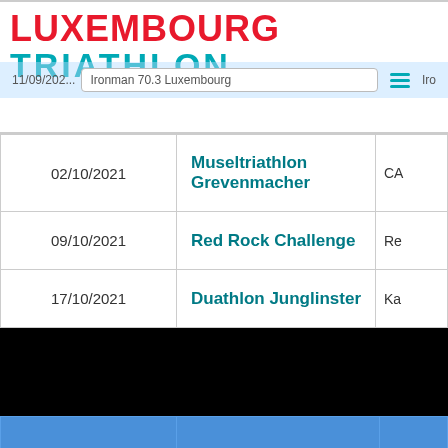[Figure (logo): Luxembourg Triathlon logo with red LUXEMBOURG text and teal TRIATHLON text]
| Date | Competition Name | O... |
| --- | --- | --- |
| 11/09/2021 | Ironman 70.3 Luxembourg | Iro |
| 02/10/2021 | Museltriathlon Grevenmacher | CA |
| 09/10/2021 | Red Rock Challenge | Re |
| 17/10/2021 | Duathlon Junglinster | Ka |
| Date | Competition Name | O... |
| --- | --- | --- |
| 19/01/2020 | FLTRI Indoor Aquathlon | FL |